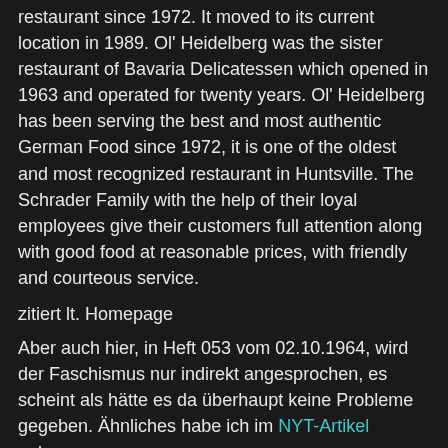restaurant since 1972. It moved to its current location in 1989. Ol' Heidelberg was the sister restaurant of Bavaria Delicatessen which opened in 1963 and operated for twenty years. Ol' Heidelberg has been serving the best and most authentic German Food since 1972, it is one of the oldest and most recognized restaurant in Huntsville. The Schrader Family with the help of their loyal employees give their customers full attention along with good food at reasonable prices, with friendly and courteous service.
zitiert lt. Homepage
Aber auch hier, in Heft 053 vom 02.10.1964, wird der Faschismus nur indirekt angesprochen, es scheint als hätte es da überhaupt keine Probleme gegeben. Ähnliches habe ich im NYT-Artikel gelesen :
The Nazi question “just doesn’t come up,” said Loren Traylor, a Chamber of Commerce vice president. “That was then, this is now.”